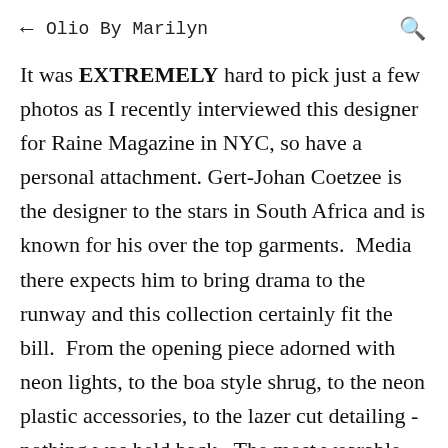← Olio By Marilyn 🔍
It was EXTREMELY hard to pick just a few photos as I recently interviewed this designer for Raine Magazine in NYC, so have a personal attachment. Gert-Johan Coetzee is the designer to the stars in South Africa and is known for his over the top garments.  Media there expects him to bring drama to the runway and this collection certainly fit the bill.  From the opening piece adorned with neon lights, to the boa style shrug, to the neon plastic accessories, to the lazer cut detailing - nothing was held back.  The most wearable pieces were the 2 one-shoulder dresses - a shorter one in li...